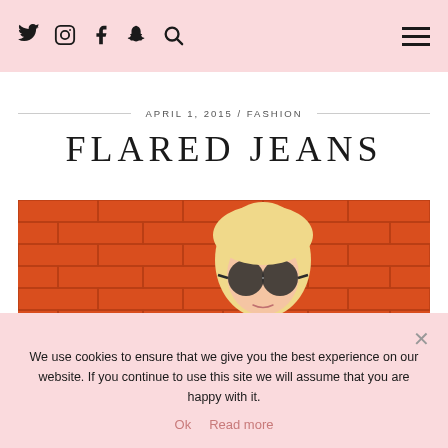Twitter Instagram Facebook Snapchat Search | Menu
APRIL 1, 2015 / FASHION
FLARED JEANS
[Figure (photo): Blonde woman wearing round sunglasses in front of an orange brick wall]
We use cookies to ensure that we give you the best experience on our website. If you continue to use this site we will assume that you are happy with it.
Ok  Read more